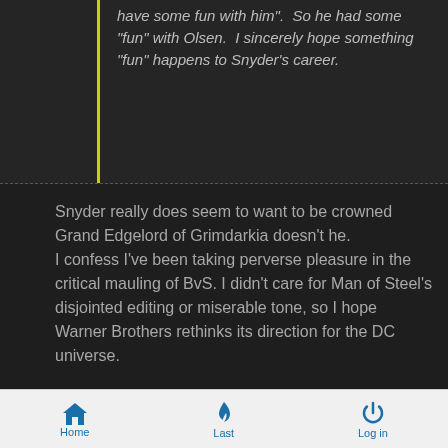have some fun with him".  So he had some "fun" with Olsen.  I sincerely hope something "fun" happens to Snyder's career.
Snyder really does seem to want to be crowned Grand Edgelord of Grimdarkia doesn't he.
I confess I've been taking perverse pleasure in the critical mauling of BvS. I didn't care for Man of Steel's disjointed editing or miserable tone, so I hope Warner Brothers rethinks its direction for the DC universe.
“I didn't think there could ever be a worse Superman movie than Superman III, but BvS has done it.
What about Superman IV? The one that showcased
Home   Last   Log in